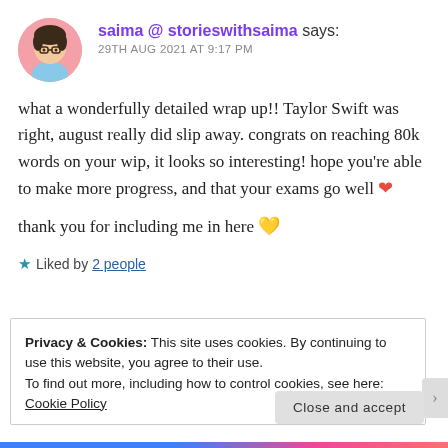saima @ storieswithsaima says: 29TH AUG 2021 AT 9:17 PM
what a wonderfully detailed wrap up!! Taylor Swift was right, august really did slip away. congrats on reaching 80k words on your wip, it looks so interesting! hope you’re able to make more progress, and that your exams go well ❤️
thank you for including me in here 💛
★ Liked by 2 people
Privacy & Cookies: This site uses cookies. By continuing to use this website, you agree to their use. To find out more, including how to control cookies, see here: Cookie Policy
Close and accept